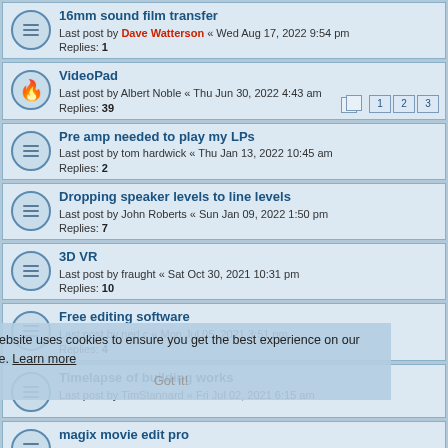16mm sound film transfer
Last post by Dave Watterson « Wed Aug 17, 2022 9:54 pm
Replies: 1
VideoPad
Last post by Albert Noble « Thu Jun 30, 2022 4:43 am
Replies: 39
Pre amp needed to play my LPs
Last post by tom hardwick « Thu Jan 13, 2022 10:45 am
Replies: 2
Dropping speaker levels to line levels
Last post by John Roberts « Sun Jan 09, 2022 1:50 pm
Replies: 7
3D VR
Last post by fraught « Sat Oct 30, 2021 10:31 pm
Replies: 10
Free editing software
Last post by ned c « Mon Jul 05, 2021 3:51 pm
Replies: 4
Timelapse of building works
Last post by TimStannard « Fri Jul 02, 2021 6:15 am
magix movie edit pro
Last post by Michael Slowe « Tue Jun 08, 2021 7:54 pm
Replies: 4
The Evolution of Home Entertainment
Last post by John Simpson « Thu Jun 03, 2021 8:48 am
Replies: 2